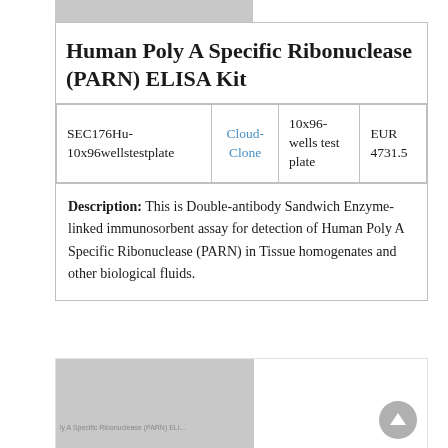Human Poly A Specific Ribonuclease (PARN) ELISA Kit
| SKU | Brand | Size | Price |
| --- | --- | --- | --- |
| SEC176Hu-10x96wellstestplate | Cloud-Clone | 10x96-wells test plate | EUR 4731.5 |
Description: This is Double-antibody Sandwich Enzyme-linked immunosorbent assay for detection of Human Poly A Specific Ribonuclease (PARN) in Tissue homogenates and other biological fluids.